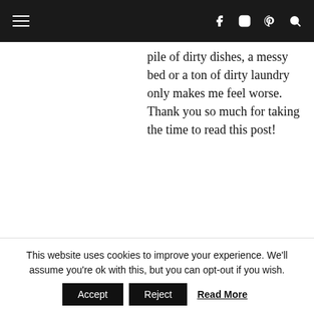Navigation bar with hamburger menu, Facebook, Instagram, Pinterest, Search icons
pile of dirty dishes, a messy bed or a ton of dirty laundry only makes me feel worse. Thank you so much for taking the time to read this post!
LISA AUTUMN
Reply
This website uses cookies to improve your experience. We'll assume you're ok with this, but you can opt-out if you wish. Accept Reject Read More